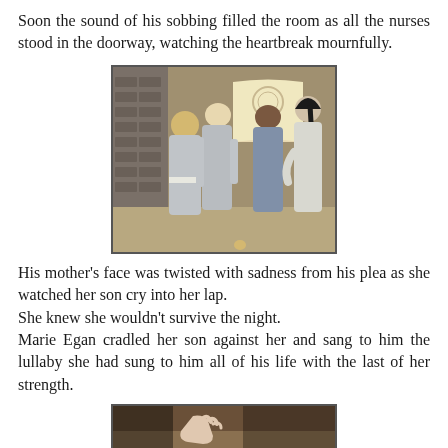Soon the sound of his sobbing filled the room as all the nurses stood in the doorway, watching the heartbreak mournfully.
[Figure (illustration): A 3D-rendered scene showing the backs of several nurses in period uniforms standing in a doorway, watching into a room. One has blonde hair, another has dark hair in a ponytail. They wear grey and blue nurse dresses.]
His mother's face was twisted with sadness from his plea as she watched her son cry into her lap.
She knew she wouldn't survive the night.
Marie Egan cradled her son against her and sang to him the lullaby she had sung to him all of his life with the last of her strength.
[Figure (illustration): A 3D-rendered close-up scene, partially visible at the bottom of the page, showing hands in a dimly lit room.]